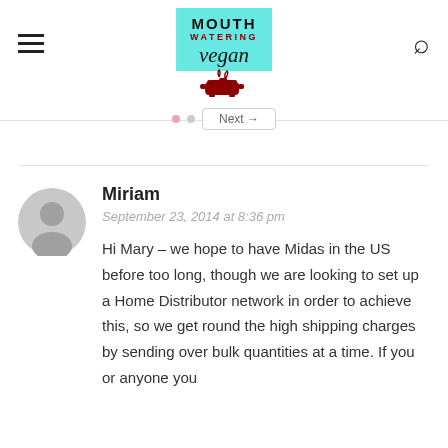Mouth Watering Vegan
Miriam
September 23, 2014 at 8:36 pm
Hi Mary – we hope to have Midas in the US before too long, though we are looking to set up a Home Distributor network in order to achieve this, so we get round the high shipping charges by sending over bulk quantities at a time. If you or anyone you